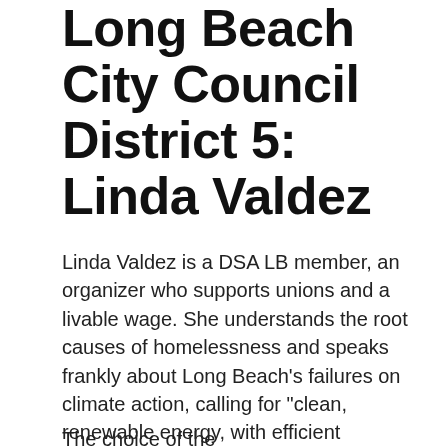Long Beach City Council District 5: Linda Valdez
Linda Valdez is a DSA LB member, an organizer who supports unions and a livable wage. She understands the root causes of homelessness and speaks frankly about Long Beach’s failures on climate action, calling for “clean, renewable energy, with efficient buildings and free, widespread public transit.” She’s “committed to protecting our wetlands, restoring and expanding our green spaces, and ending oil extraction in our neighborhoods and offshore.”
The choice of the...